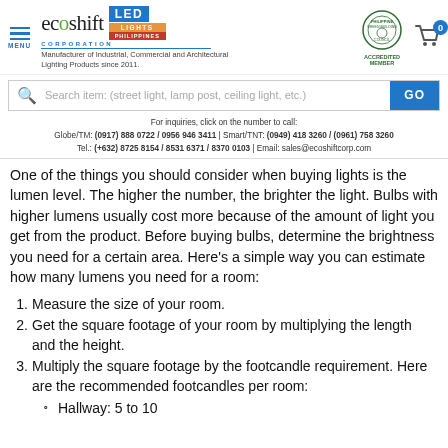[Figure (logo): Ecoshift Corporation LED Lights Philippines logo with menu icon, seal, and cart]
[Figure (screenshot): Search bar with placeholder text and GO button]
For inquiries, click on the number to call:
Globe/TM: (0917) 888 0722 / 0956 946 3411 | Smart/TNT: (0949) 418 3260 / (0961) 758 3260
Tel.: (+632) 8725 8154 / 8531 6371 / 8370 0103 | Email: sales@ecoshiftcorp.com
One of the things you should consider when buying lights is the lumen level. The higher the number, the brighter the light. Bulbs with higher lumens usually cost more because of the amount of light you get from the product. Before buying bulbs, determine the brightness you need for a certain area. Here's a simple way you can estimate how many lumens you need for a room:
1. Measure the size of your room.
2. Get the square footage of your room by multiplying the length and the height.
3. Multiply the square footage by the footcandle requirement. Here are the recommended footcandles per room:
Hallway: 5 to 10